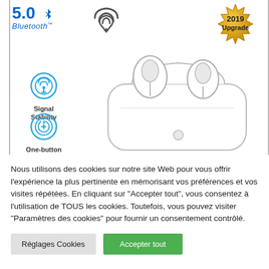[Figure (photo): Product image showing Bluetooth 5.0 wireless earbuds in a transparent charging case. Features icons for Signal Stability and One-button control on the left. A 2019 Upgrade gold badge in the top right. Bluetooth logo with version 5.0 and a WiFi/signal icon at top.]
Nous utilisons des cookies sur notre site Web pour vous offrir l'expérience la plus pertinente en mémorisant vos préférences et vos visites répétées. En cliquant sur "Accepter tout", vous consentez à l'utilisation de TOUS les cookies. Toutefois, vous pouvez visiter "Paramètres des cookies" pour fournir un consentement contrôlé.
Réglages Cookies
Accepter tout